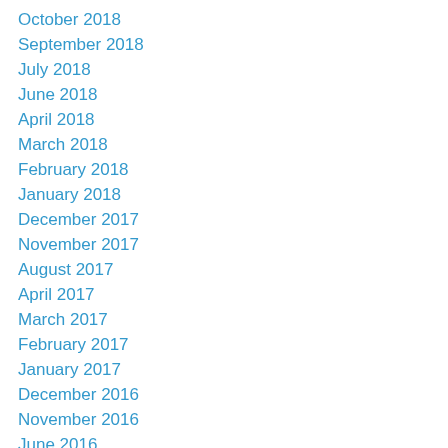October 2018
September 2018
July 2018
June 2018
April 2018
March 2018
February 2018
January 2018
December 2017
November 2017
August 2017
April 2017
March 2017
February 2017
January 2017
December 2016
November 2016
June 2016
April 2016
March 2016